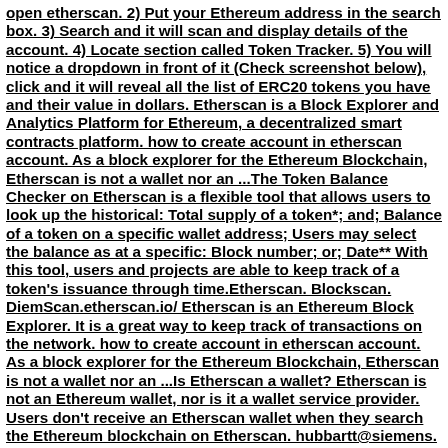open etherscan. 2) Put your Ethereum address in the search box. 3) Search and it will scan and display details of the account. 4) Locate section called Token Tracker. 5) You will notice a dropdown in front of it (Check screenshot below), click and it will reveal all the list of ERC20 tokens you have and their value in dollars. Etherscan is a Block Explorer and Analytics Platform for Ethereum, a decentralized smart contracts platform. how to create account in etherscan account. As a block explorer for the Ethereum Blockchain, Etherscan is not a wallet nor an ...The Token Balance Checker on Etherscan is a flexible tool that allows users to look up the historical: Total supply of a token*; and; Balance of a token on a specific wallet address; Users may select the balance as at a specific: Block number; or; Date** With this tool, users and projects are able to keep track of a token's issuance through time.Etherscan. Blockscan. DiemScan.etherscan.io/ Etherscan is an Ethereum Block Explorer. It is a great way to keep track of transactions on the network. how to create account in etherscan account. As a block explorer for the Ethereum Blockchain, Etherscan is not a wallet nor an ...Is Etherscan a wallet? Etherscan is not an Ethereum wallet, nor is it a wallet service provider. Users don't receive an Etherscan wallet when they search the Ethereum blockchain on Etherscan. hubbartt@siemens. NFT: The Saudis Oasis Land Etherscan: https://etherscan.io/address/0x95237346f46418f56beded7dcbd5757